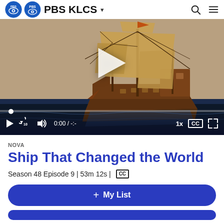[Figure (screenshot): PBS KLCS header logo with search and menu icons]
[Figure (screenshot): Video player showing a historical sailing ship illustration with play button overlay and video controls bar showing 0:00 / -:- timecode, 1x speed, CC button, and fullscreen icon]
NOVA
Ship That Changed the World
Season 48 Episode 9 | 53m 12s | CC
+ My List